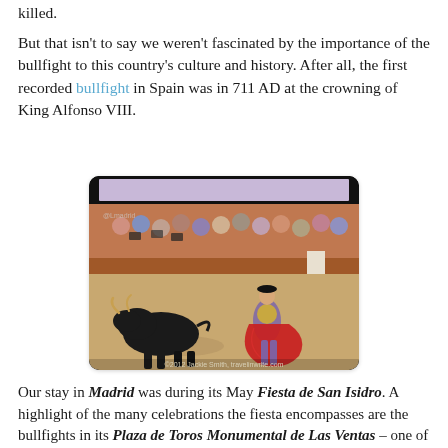killed.
But that isn't to say we weren't fascinated by the importance of the bullfight to this country's culture and history. After all, the first recorded bullfight in Spain was in 711 AD at the crowning of King Alfonso VIII.
[Figure (photo): A matador faces a charging bull in a bullring arena. Spectators and photographers are visible in the stands above a wooden barrier. Photo credit: ©2012 Jackie Smith, travelinwrite.com]
Our stay in Madrid was during its May Fiesta de San Isidro. A highlight of the many celebrations the fiesta encompasses are the bullfights in its Plaza de Toros Monumental de Las Ventas – one of the largest bullfight rings in the world.